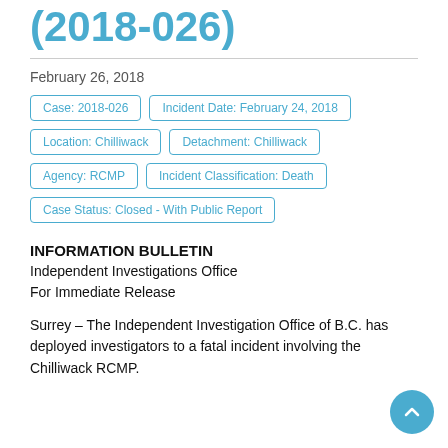(2018-026)
February 26, 2018
Case: 2018-026
Incident Date: February 24, 2018
Location: Chilliwack
Detachment: Chilliwack
Agency: RCMP
Incident Classification: Death
Case Status: Closed - With Public Report
INFORMATION BULLETIN
Independent Investigations Office
For Immediate Release
Surrey – The Independent Investigation Office of B.C. has deployed investigators to a fatal incident involving the Chilliwack RCMP.